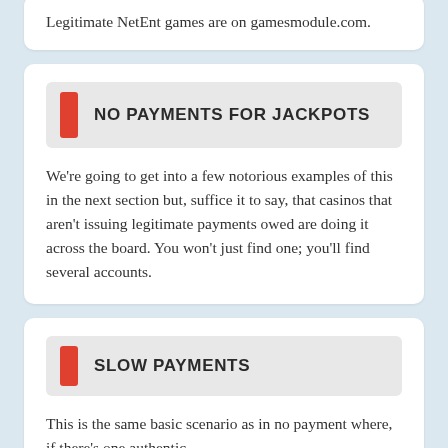Legitimate NetEnt games are on gamesmodule.com.
NO PAYMENTS FOR JACKPOTS
We're going to get into a few notorious examples of this in the next section but, suffice it to say, that casinos that aren't issuing legitimate payments owed are doing it across the board. You won't just find one; you'll find several accounts.
SLOW PAYMENTS
This is the same basic scenario as in no payment where, if there's one authentic